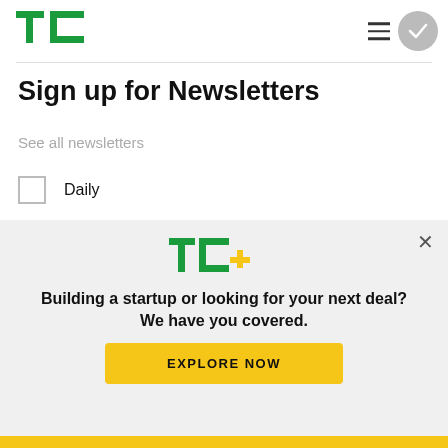[Figure (logo): TechCrunch TC green logo in header]
Sign up for Newsletters
See all newsletters
Daily
Week in Review
Startups Weekly
[Figure (logo): TC+ logo in overlay banner]
Building a startup or looking for your next deal? We have you covered.
EXPLORE NOW